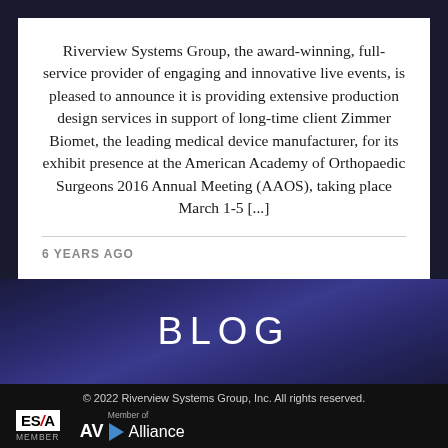Riverview Systems Group, the award-winning, full-service provider of engaging and innovative live events, is pleased to announce it is providing extensive production design services in support of long-time client Zimmer Biomet, the leading medical device manufacturer, for its exhibit presence at the American Academy of Orthopaedic Surgeons 2016 Annual Meeting (AAOS), taking place March 1-5 [...]
6 YEARS AGO
BLOG
© 2022 Riverview Systems Group, Inc. All rights reserved.